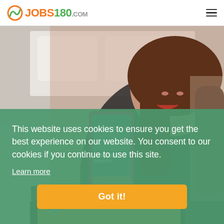JOBS180.com — navigation header with hamburger menu
[Figure (photo): Woman in black blazer smiling and holding a pink smartphone displaying a hotel booking app; behind her are a tablet and another device showing similar content; background shows a hotel room setting]
This website uses cookies to ensure you get the best experience on our website. You consent to our cookies if you continue to use this site.
Learn more
Got it!